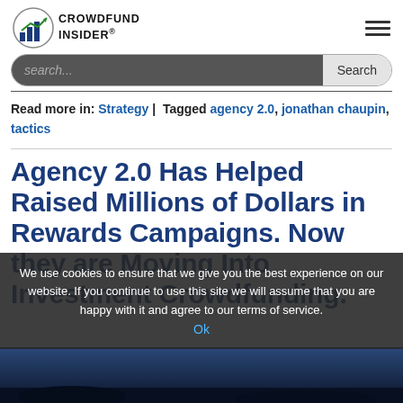[Figure (logo): Crowdfund Insider logo with circular chart icon and bold text]
search...
Read more in: Strategy | Tagged agency 2.0, jonathan chaupin, tactics
Agency 2.0 Has Helped Raised Millions of Dollars in Rewards Campaigns. Now they are Moving Into Investment Crowdfunding.
We use cookies to ensure that we give you the best experience on our website. If you continue to use this site we will assume that you are happy with it and agree to our terms of service.
[Figure (photo): Dark blue night sky or outdoor scene at bottom of page]